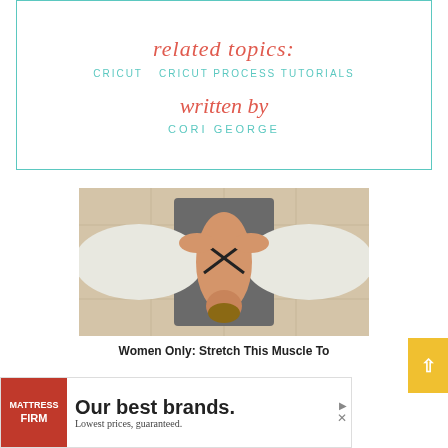related topics:
CRICUT   CRICUT PROCESS TUTORIALS
written by
CORI GEORGE
[Figure (photo): Overhead view of a woman in a yoga/stretching pose lying on a gray mat, arms extended outward, wearing a dark cross-back sports bra, on a tiled floor.]
Women Only: Stretch This Muscle To
[Figure (other): Advertisement banner for Mattress Firm: 'Our best brands. Lowest prices, guaranteed.']